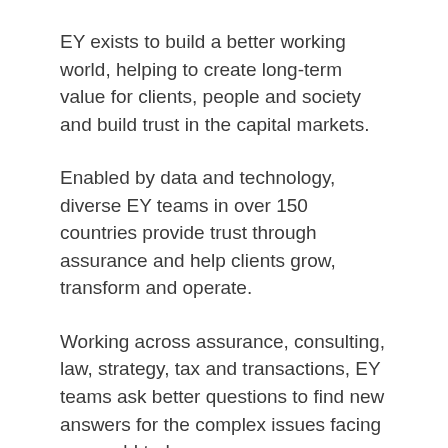EY exists to build a better working world, helping to create long-term value for clients, people and society and build trust in the capital markets.
Enabled by data and technology, diverse EY teams in over 150 countries provide trust through assurance and help clients grow, transform and operate.
Working across assurance, consulting, law, strategy, tax and transactions, EY teams ask better questions to find new answers for the complex issues facing our world today.
Company: EY